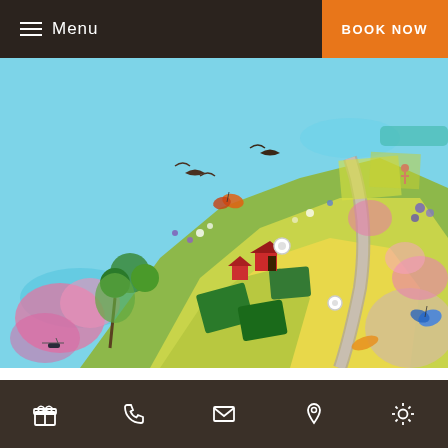Menu | BOOK NOW
[Figure (illustration): Colorful aerial/isometric illustration of the Ticino region showing fields, gardens, flowers, birds, butterflies, red farm buildings, pathways, and blue water surroundings]
TICINO BLOSSOMS AND COMES TO LIFE ONCE AGAIN
Icons: gift, phone, mail, location, brightness/weather